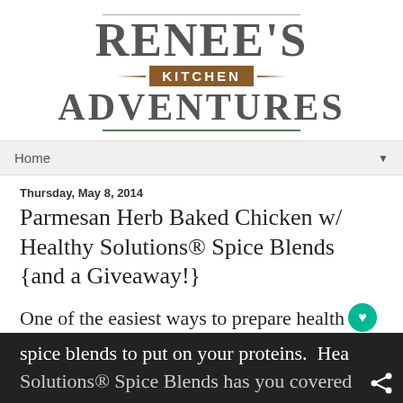[Figure (logo): Renee's Kitchen Adventures blog logo — large serif text 'RENEE'S' above a brown banner reading 'KITCHEN', below which is large serif 'ADVENTURES', with horizontal lines above and below]
Home
Thursday, May 8, 2014
Parmesan Herb Baked Chicken w/ Healthy Solutions® Spice Blends {and a Giveaway!}
One of the easiest ways to prepare healthy low calorie food fast is to have an arsenal spice blends to put on your proteins.  Healthy Solutions® Spice Blends has you covered